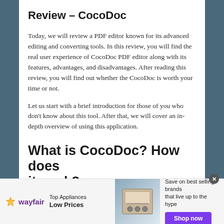Review – CocoDoc
Today, we will review a PDF editor known for its advanced editing and converting tools. In this review, you will find the real user experience of CocoDoc PDF editor along with its features, advantages, and disadvantages. After reading this review, you will find out whether the CocoDoc is worth your time or not.
Let us start with a brief introduction for those of you who don't know about this tool. After that, we will cover an in-depth overview of using this application.
What is CocoDoc? How does it work?
[Figure (other): Wayfair advertisement banner: Top Appliances Low Prices, with stove image, Save on best selling brands that live up to the hype, Shop now button]